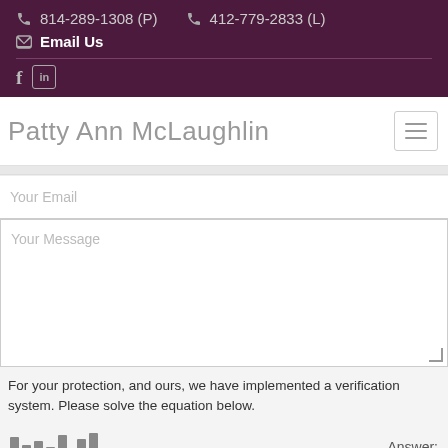814-289-1308 (P)  412-779-2833 (L)
Email Us
Patty Ann McLaughlin
Your Email
Your Message
For your protection, and ours, we have implemented a verification system. Please solve the equation below.
Answer: